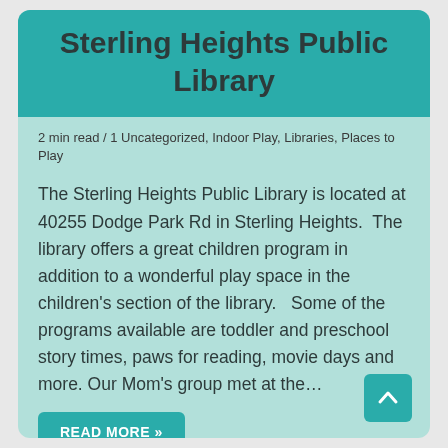Sterling Heights Public Library
2 min read / 1 Uncategorized, Indoor Play, Libraries, Places to Play
The Sterling Heights Public Library is located at 40255 Dodge Park Rd in Sterling Heights.  The library offers a great children program in addition to a wonderful play space in the children's section of the library.   Some of the programs available are toddler and preschool story times, paws for reading, movie days and more. Our Mom's group met at the…
READ MORE »